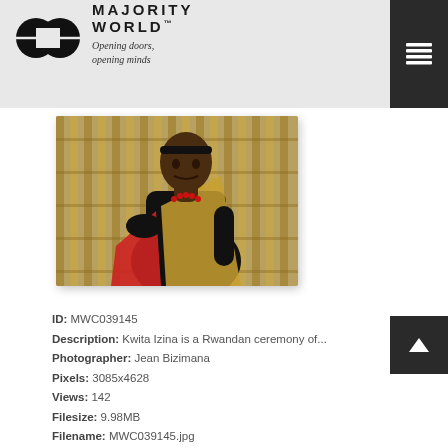MAJORITY WORLD™ — Opening doors, opening minds
[Figure (photo): A woman wearing a black top with a gold/beige sari wrap and red beaded necklace, seated in front of a woven bamboo wall background. Kwita Izina Rwandan ceremony photo.]
ID: MWC039145
Description: Kwita Izina is a Rwandan ceremony of...
Photographer: Jean Bizimana
Pixels: 3085x4628
Views: 142
Filesize: 9.98MB
Filename: MWC039145.jpg
Owner: Jean Bizimana
Added: Jun 15, 2021